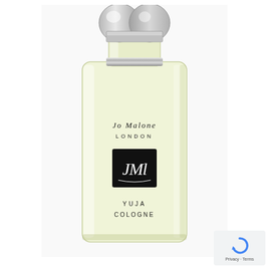[Figure (photo): Jo Malone London Yuja Cologne perfume bottle. A tall rectangular glass bottle with pale yellow-green liquid, silver rounded double-ball cap, a black square label with JML monogram in script, and text reading 'Jo Malone London' and 'Yuja Cologne' printed on the glass.]
Privacy · Terms